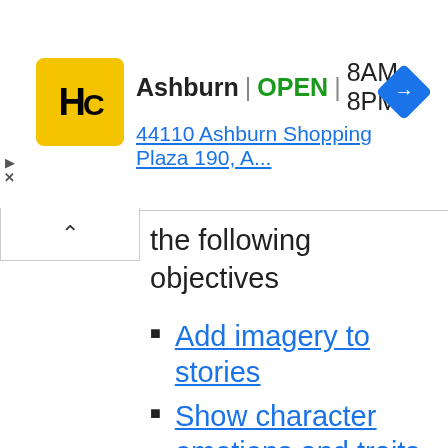[Figure (screenshot): Advertisement banner for Hairclub (HC) Ashburn location. Shows yellow logo with HC letters, business name 'Ashburn', green OPEN label, hours '8AM-8PM', and address '44110 Ashburn Shopping Plaza 190, A...' with a blue navigation arrow icon.]
the following objectives
Add imagery to stories
Show character emotions and traits
Use actions and dialogue